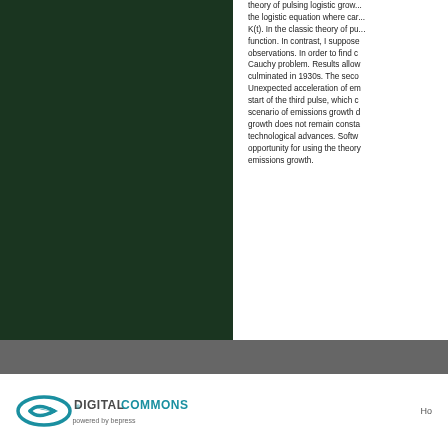[Figure (photo): Dark green background image occupying the left column of the page]
theory of pulsing logistic growth. The paper describes the logistic equation where carrying capacity is the function K(t). In the classic theory of pulsing logistic growth function. In contrast, I suppose observations. In order to find c Cauchy problem. Results allow culminated in 1930s. The seco Unexpected acceleration of em start of the third pulse, which c scenario of emissions growth d growth does not remain consta technological advances. Softw opportunity for using the theory emissions growth.
[Figure (logo): Digital Commons powered by bepress logo]
Ho